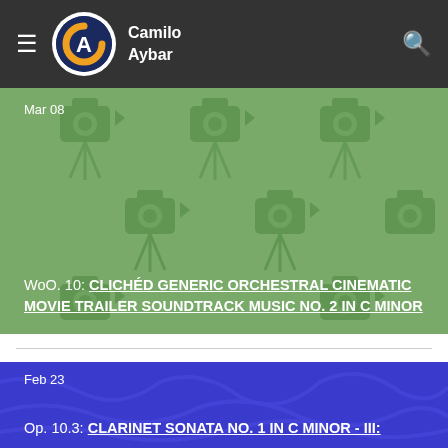Camilo Aybar
Mar 08
WoO. 10: CLICHÉD GENERIC ORCHESTRAL CINEMATIC MOVIE TRAILER SOUNDTRACK MUSIC NO. 2 IN C MINOR
Feb 23
Op. 10.3: CLARINET SONATA NO. 1 IN C MINOR - III: